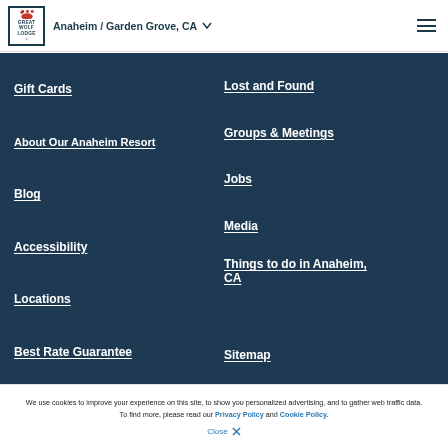Great Wolf Lodge – Anaheim / Garden Grove, CA
Gift Cards
Lost and Found
About Our Anaheim Resort
Groups & Meetings
Blog
Jobs
Accessibility
Media
Locations
Things to do in Anaheim, CA
Best Rate Guarantee
Sitemap
We use cookies to improve your experience on this site, to show you personalized advertising, and to gather web traffic data. To find more, please read our Privacy Policy and Cookie Policy.
Close ×